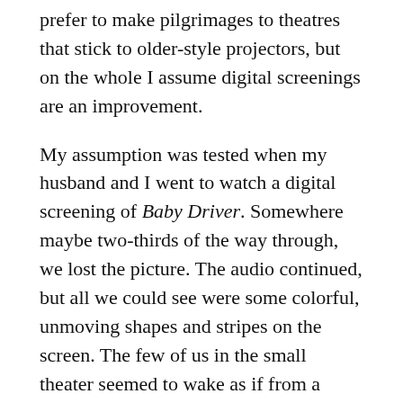prefer to make pilgrimages to theatres that stick to older-style projectors, but on the whole I assume digital screenings are an improvement.
My assumption was tested when my husband and I went to watch a digital screening of Baby Driver. Somewhere maybe two-thirds of the way through, we lost the picture. The audio continued, but all we could see were some colorful, unmoving shapes and stripes on the screen. The few of us in the small theater seemed to wake as if from a dream, and started looking around awkwardly.
Someone was found to complain to, the audio and screen were shut off, hasty, vague explanations were made, people passed the time on their mobile phones. They never managed to get the movie going again. We agreed to accept movie ticket vouchers and come back another day.